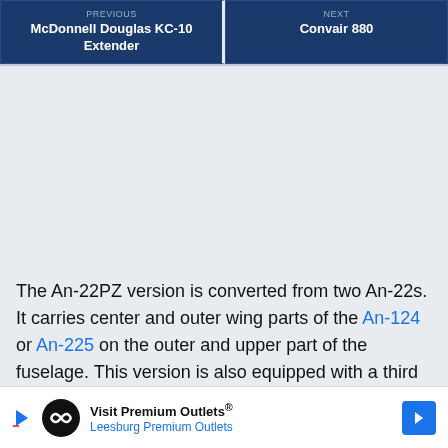PREVIOUS
McDonnell Douglas KC-10 Extender
NEXT
Convair 880
The An-22PZ version is converted from two An-22s. It carries center and outer wing parts of the An-124 or An-225 on the outer and upper part of the fuselage. This version is also equipped with a third centerline fin.
[Figure (infographic): Advertisement banner: Visit Premium Outlets® Leesburg Premium Outlets with logo and navigation arrow]